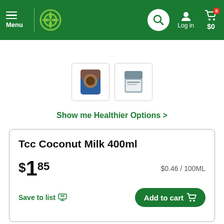Menu | Woolworths | Search | Log in | $0 cart
Browse Groceries
[Figure (photo): Two product thumbnail images shown in a row — a coconut milk can and a tin]
Show me Healthier Options >
Tcc Coconut Milk 400ml
$1.85  $0.46 / 100ML
Save to list   Add to cart